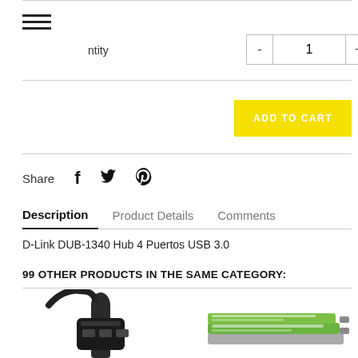[Figure (screenshot): Hamburger menu icon (three horizontal lines)]
ntity
[Figure (screenshot): Quantity selector with minus button, input field showing 1, and plus button]
[Figure (screenshot): ADD TO CART button in yellow]
Share
[Figure (screenshot): Social share icons: Facebook, Twitter, Pinterest]
Description	Product Details	Comments
D-Link DUB-1340 Hub 4 Puertos USB 3.0
99 OTHER PRODUCTS IN THE SAME CATEGORY:
[Figure (photo): Product image of a USB hub/cable device (dark, with cable)]
[Figure (photo): Product image of a green/white layered device (possibly a router or hub)]